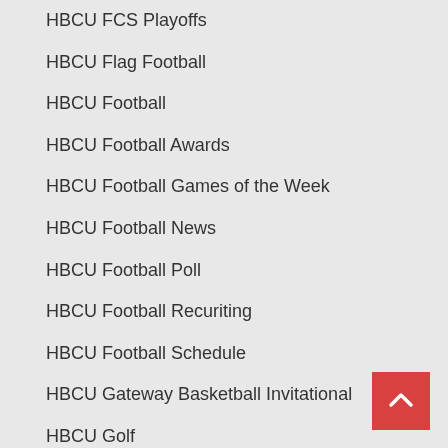HBCU FCS Playoffs
HBCU Flag Football
HBCU Football
HBCU Football Awards
HBCU Football Games of the Week
HBCU Football News
HBCU Football Poll
HBCU Football Recuriting
HBCU Football Schedule
HBCU Gateway Basketball Invitational
HBCU Golf
HBCU Gymnastics
HBCU Hall of Fame